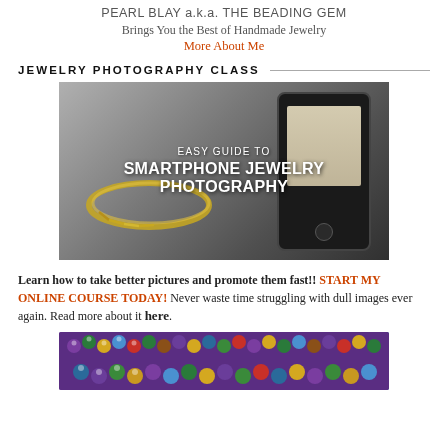PEARL BLAY a.k.a. THE BEADING GEM
Brings You the Best of Handmade Jewelry
More About Me
JEWELRY PHOTOGRAPHY CLASS
[Figure (photo): Promotional banner image showing a smartphone photographing gold jewelry, with text overlay reading 'EASY GUIDE TO SMARTPHONE JEWELRY PHOTOGRAPHY']
Learn how to take better pictures and promote them fast!! START MY ONLINE COURSE TODAY! Never waste time struggling with dull images ever again. Read more about it here.
[Figure (photo): Closeup photo of colorful beaded jewelry with purple, green, gold, and blue beads]